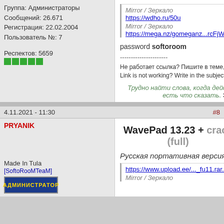Mirror / Зеркало
https://wdho.ru/50u
Mirror / Зеркало
https://mega.nz/gomeganz...rcFjWTyOE2VRgU
password softoroom
Группа: Администраторы
Сообщений: 26.671
Регистрация: 22.02.2004
Пользователь №: 7
Респектов: 5659
----------------------
Не работает ссылка? Пишите в теме, обновим :)! Link is not working? Write in the subject line!
Трудно найти слова, когда действительно есть что сказать. Э.М. Ремарк
4.11.2021 - 11:30
#8
PRYANIK
WavePad 13.23 + crack (full)
Made In Tula
[SoftoRooMTeaM]
Русская портативная версия
https://www.upload.ee/..._fu11.rar.html
Mirror / Зеркало